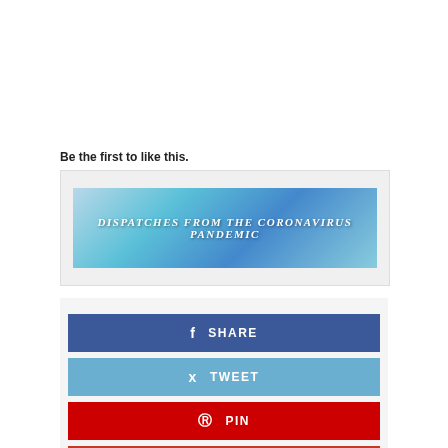[Figure (other): Like button with star icon]
Be the first to like this.
[Figure (illustration): Banner image with text DISPATCHES FROM THE CORONAVIRUS PANDEMIC over a blue medical/lab themed background]
[Figure (infographic): Social share buttons: SHARE (Facebook, blue), TWEET (Twitter, light blue), PIN (Pinterest, red), SHARE (Google+, dark red)]